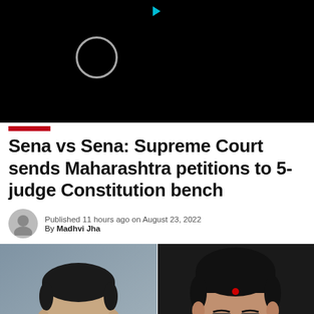[Figure (screenshot): Black background video loading screen with a circular loading indicator and a small teal play/pause icon at the top]
Sena vs Sena: Supreme Court sends Maharashtra petitions to 5-judge Constitution bench
Published 11 hours ago on August 23, 2022
By Madhvi Jha
[Figure (photo): Two politicians side by side: left photo shows a man with glasses against a grey background; right photo shows a man with glasses and a bindi against a dark background]